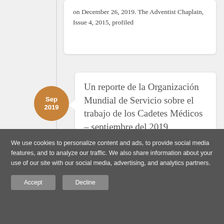on December 26, 2019.  The Adventist Chaplain, Issue 4, 2015, profiled
Un reporte de la Organización Mundial de Servicio sobre el trabajo de los Cadetes Médicos – septiembre del 2019
September 19, 2019
Reciba información sobre el trabajo del Cuerpo de Cadetes Médicos en favor de las victimas del Huracán Dorian en la Bahamas.
We use cookies to personalize content and ads, to provide social media features, and to analyze our traffic. We also share information about your use of our site with our social media, advertising, and analytics partners.